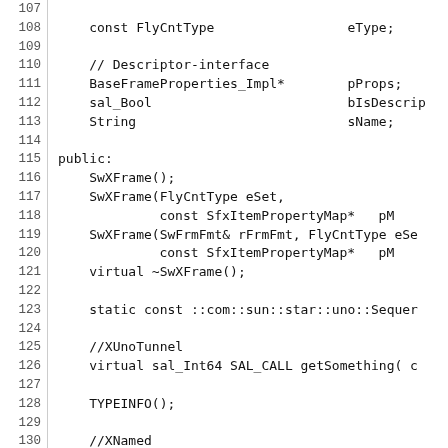Code listing: C++ class definition lines 107-136, including FlyCntType, BaseFrameProperties_Impl, SwXFrame constructors, virtual methods, static const, XUnoTunnel, TYPEINFO, XNamed, XPropertySet declarations.